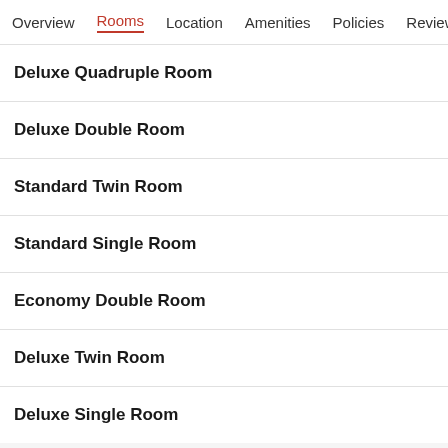Overview  Rooms  Location  Amenities  Policies  Reviews
Deluxe Quadruple Room
Deluxe Double Room
Standard Twin Room
Standard Single Room
Economy Double Room
Deluxe Twin Room
Deluxe Single Room
About this area